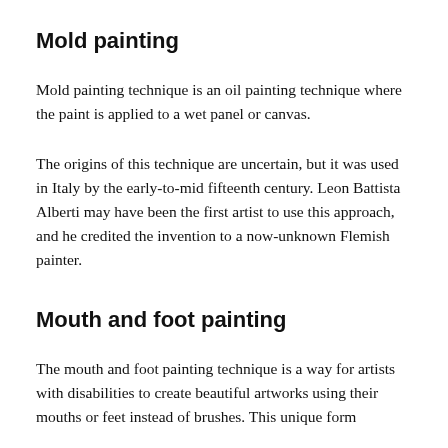Mold painting
Mold painting technique is an oil painting technique where the paint is applied to a wet panel or canvas.
The origins of this technique are uncertain, but it was used in Italy by the early-to-mid fifteenth century. Leon Battista Alberti may have been the first artist to use this approach, and he credited the invention to a now-unknown Flemish painter.
Mouth and foot painting
The mouth and foot painting technique is a way for artists with disabilities to create beautiful artworks using their mouths or feet instead of brushes. This unique form